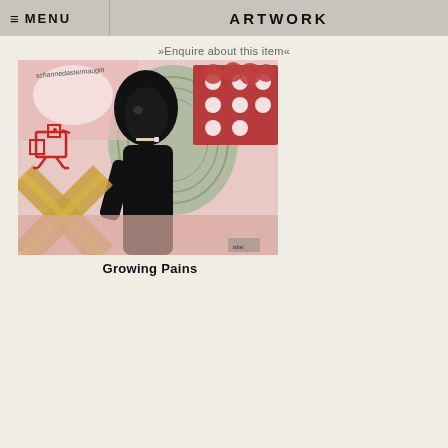≡ MENU   ARTWORK
»Enquire about this item«
[Figure (illustration): Mixed media artwork showing a person with a cigarette in black and white, overlaid with colorful abstract elements including red polka dot fabric, gold X shapes, red bird outline, and handwritten text on a pink and sage green background]
Growing Pains